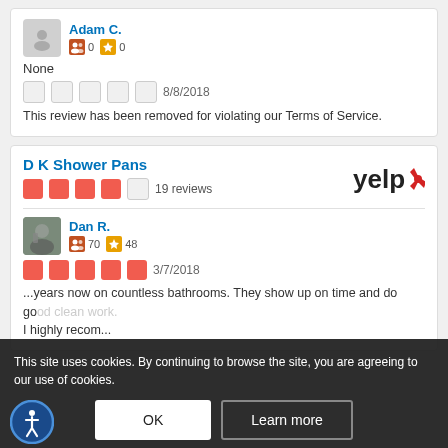Adam C. — 0 friends, 0 compliments
None
★★★★★ (empty) 8/8/2018
This review has been removed for violating our Terms of Service.
D K Shower Pans — 19 reviews (4 stars)
Dan R. — 70 friends, 48 compliments
★★★★★ 3/7/2018
...years now on countless bathrooms. They show up on time and do good clean work.
I highly recom...
This site uses cookies. By continuing to browse the site, you are agreeing to our use of cookies.